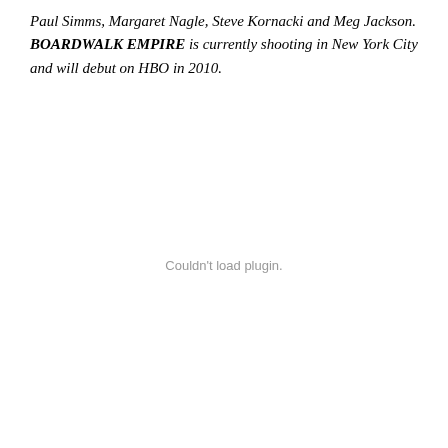Paul Simms, Margaret Nagle, Steve Kornacki and Meg Jackson. BOARDWALK EMPIRE is currently shooting in New York City and will debut on HBO in 2010.
Couldn't load plugin.